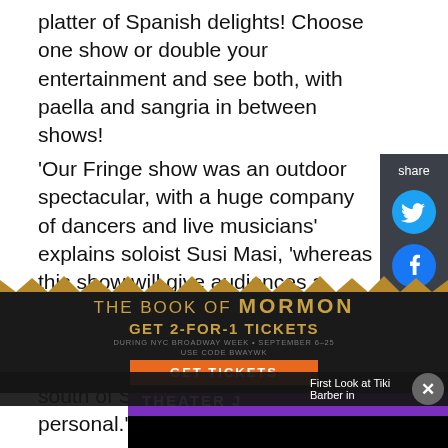platter of Spanish delights! Choose one show or double your entertainment and see both, with paella and sangria in between shows!
'Our Fringe show was an outdoor spectacular, with a huge company of dancers and live musicians' explains soloist Susi Masi, 'whereas this show will give audiences a chance to witness flamenco in its more intimate traditional form- like you would see in a small club in the south of Spain, up close and personal.'
[Figure (screenshot): Theater J advertisement showing 'OLD STOCK.' text with a top hat image on black background with purple header bar]
[Figure (screenshot): The Book of Mormon advertisement - GET 2-FOR-1 TICKETS DURING NYC BROADWAY WEEK SEPTEMBER 6-25 USE CODE BWAYWK with GET TICKETS button on gold/black background]